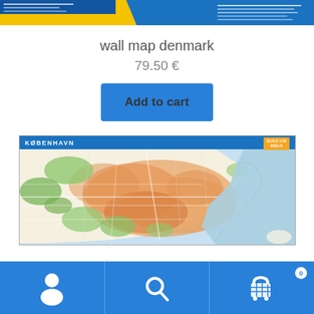[Figure (illustration): Product thumbnail image of a wall map of Denmark — blue and yellow header bar with white text lines on the right side]
wall map denmark
79.50 €
Add to cart
[Figure (map): Preview map of København (Copenhagen) showing a detailed street map with green parks, orange urban areas, and blue water/sea on the right side. Blue header bar at top with city name KØBENHAVN in white, and an orange badge in top right.]
Navigation bar with person icon, search icon, and shopping cart icon with badge 0